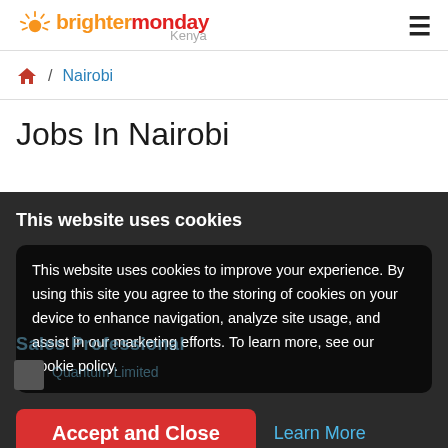[Figure (logo): BrighterMonday Kenya logo with sun icon]
/ Nairobi
Jobs In Nairobi
This website uses cookies
This website uses cookies to improve your experience. By using this site you agree to the storing of cookies on your device to enhance navigation, analyze site usage, and assist in our marketing efforts. To learn more, see our cookie policy.
Accept and Close
Learn More